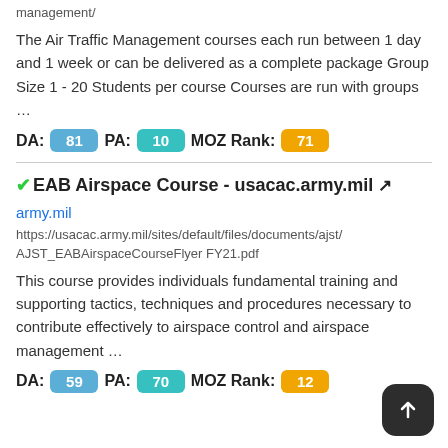management/
The Air Traffic Management courses each run between 1 day and 1 week or can be delivered as a complete package Group Size 1 - 20 Students per course Courses are run with groups …
DA: 81  PA: 10  MOZ Rank: 71
✔EAB Airspace Course - usacac.army.mil
army.mil
https://usacac.army.mil/sites/default/files/documents/ajst/AJST_EABAirspaceCourseFlyer FY21.pdf
This course provides individuals fundamental training and supporting tactics, techniques and procedures necessary to contribute effectively to airspace control and airspace management …
DA: 59  PA: 70  MOZ Rank: 12